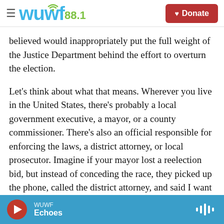WUWF 88.1 | Donate
believed would inappropriately put the full weight of the Justice Department behind the effort to overturn the election.
Let's think about what that means. Wherever you live in the United States, there's probably a local government executive, a mayor, or a county commissioner. There's also an official responsible for enforcing the laws, a district attorney, or local prosecutor. Imagine if your mayor lost a reelection bid, but instead of conceding the race, they picked up the phone, called the district attorney, and said I want you to say this election was stolen.
WUWF | Echoes